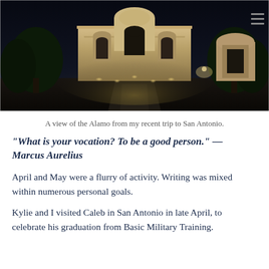[Figure (photo): Night photograph of the Alamo in San Antonio, illuminated against a dark sky, with a stone courtyard path leading to the historic facade.]
A view of the Alamo from my recent trip to San Antonio.
“What is your vocation? To be a good person.” — Marcus Aurelius
April and May were a flurry of activity. Writing was mixed within numerous personal goals.
Kylie and I visited Caleb in San Antonio in late April, to celebrate his graduation from Basic Military Training.